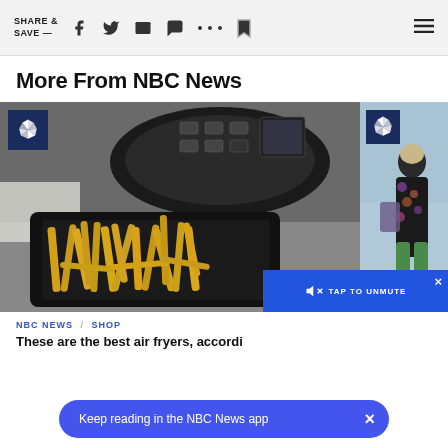SHARE & SAVE —
More From NBC News
[Figure (photo): Air fryer with french fries in basket, top-down view, beside a second photo showing a person walking]
NBC NEWS / SHOP
These are the best air fryers, accordi
TAP TO UNMUTE
Keep reading in the NBC News app